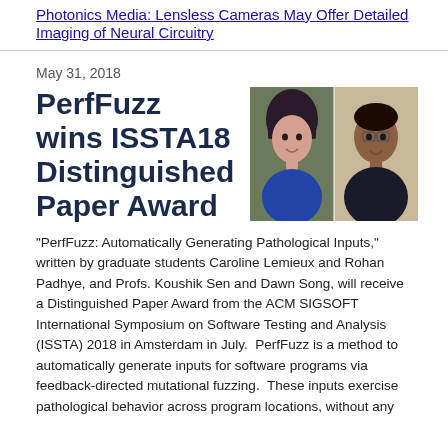Photonics Media: Lensless Cameras May Offer Detailed Imaging of Neural Circuitry
May 31, 2018
PerfFuzz wins ISSTA18 Distinguished Paper Award
[Figure (photo): Two photos side by side: a young woman with dark bangs and a young man with glasses, both smiling.]
"PerfFuzz: Automatically Generating Pathological Inputs," written by graduate students Caroline Lemieux and Rohan Padhye, and Profs. Koushik Sen and Dawn Song, will receive a Distinguished Paper Award from the ACM SIGSOFT International Symposium on Software Testing and Analysis (ISSTA) 2018 in Amsterdam in July.  PerfFuzz is a method to automatically generate inputs for software programs via feedback-directed mutational fuzzing.  These inputs exercise pathological behavior across program locations, without any